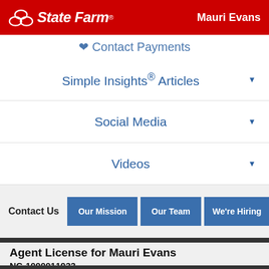State Farm — Mauri Evans
Contact Payments
Simple Insights® Articles
Social Media
Videos
Contact Us | Our Mission | Our Team | We're Hiring
Agent License for Mauri Evans
NC-1000011933